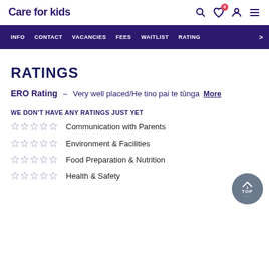Care for kids
INFO  CONTACT  VACANCIES  FEES  WAITLIST  RATING  >
RATINGS
ERO Rating – Very well placed/He tino pai te tūnga More
WE DON'T HAVE ANY RATINGS JUST YET
Communication with Parents
Environment & Facilities
Food Preparation & Nutrition
Health & Safety